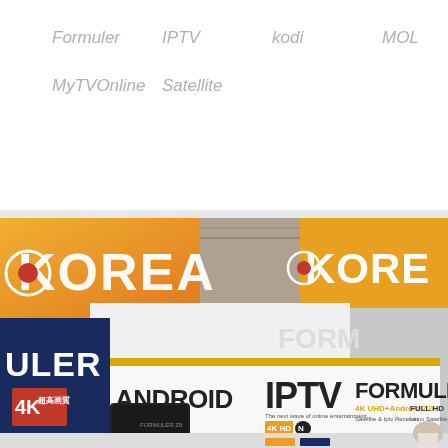Formuler
IPTV
kodi
MOL
MyTVOnline
Satellite
[Figure (photo): Exhibition hall photo showing Formuler booth with ANDROID IPTV FORMULER signage, KOREA banners overhead, 4K UHD+Android 7.0 products displayed]